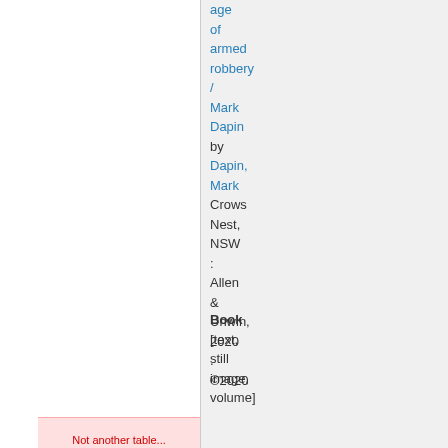age of armed robbery / Mark Dapin by Dapin, Mark Crows Nest, NSW : Allen & Unwin, 2020 . ©2020
Book [text, still image, volume]